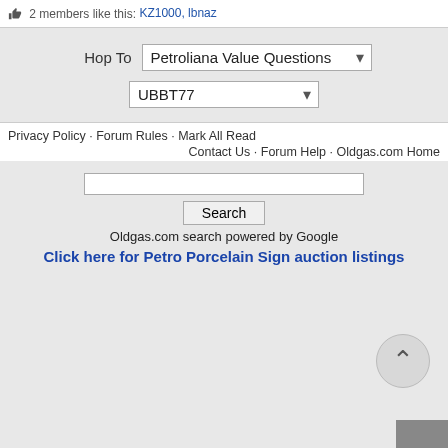2 members like this: KZ1000, lbnaz
Hop To  Petroliana Value Questions
UBBT77
Privacy Policy · Forum Rules · Mark All Read · Contact Us · Forum Help · Oldgas.com Home
Oldgas.com search powered by Google
Click here for Petro Porcelain Sign auction listings